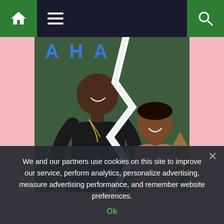Navigation bar with home icon, menu icon, and search icon
[Figure (photo): A couple posing together in front of a green hedge wall with neon blue letters. A tall man in a dark t-shirt with gold chains stands next to a shorter woman in a pink/salmon off-shoulder top. A white lightning bolt/crack graphic splits the image down the middle, symbolizing a breakup or divorce.]
We and our partners use cookies on this site to improve our service, perform analytics, personalize advertising, measure advertising performance, and remember website preferences.
Ok